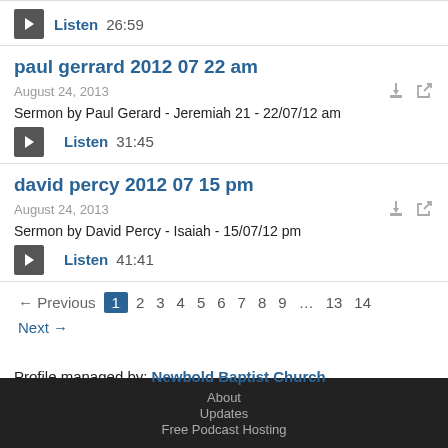Listen  26:59
paul gerrard 2012 07 22 am
August 24, 2013
Sermon by Paul Gerard - Jeremiah 21 - 22/07/12 am
Listen  31:45
david percy 2012 07 15 pm
August 24, 2013
Sermon by David Percy - Isaiah - 15/07/12 pm
Listen  41:41
← Previous  1  2  3  4  5  6  7  8  9  ...  13  14  Next →
Profile managed by: Newbold Baptist Church
About
Updates
Free Podcast Hosting